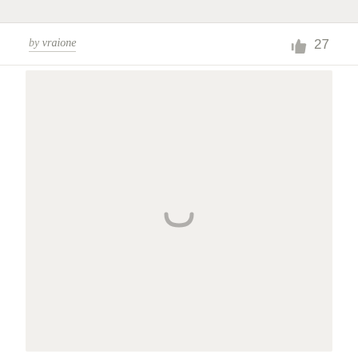by vraione  👍 27
[Figure (illustration): A loading spinner icon (arc/horseshoe shape) centered in a light gray content area, indicating content is loading.]